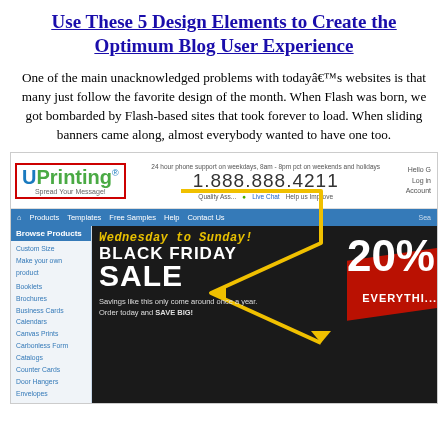Use These 5 Design Elements to Create the Optimum Blog User Experience
One of the main unacknowledged problems with todayâs websites is that many just follow the favorite design of the month. When Flash was born, we got bombarded by Flash-based sites that took forever to load. When sliding banners came along, almost everybody wanted to have one too.
[Figure (screenshot): Screenshot of UPrinting.com website showing the header with logo, phone number 1.888.888.4211, navigation bar with Products, Templates, Free Samples, Help, Contact Us, a left sidebar with Browse Products menu, and a Black Friday Sale banner with Wednesday to Sunday, 20% off everything, with a yellow arrow annotation overlay.]